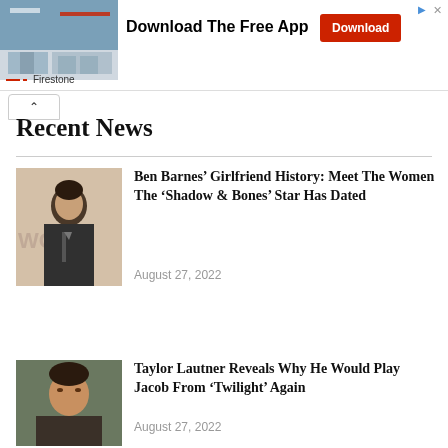[Figure (photo): Advertisement banner for Firestone showing store building photo, 'Download The Free App' text, red Download button, and Firestone logo]
Recent News
[Figure (photo): Photo of Ben Barnes in dark suit at event with 'WO' text visible in background]
Ben Barnes’ Girlfriend History: Meet The Women The ‘Shadow & Bones’ Star Has Dated
August 27, 2022
[Figure (photo): Photo of Taylor Lautner outdoors]
Taylor Lautner Reveals Why He Would Play Jacob From ‘Twilight’ Again
August 27, 2022